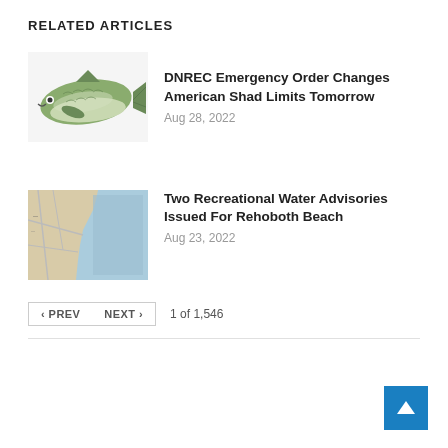RELATED ARTICLES
[Figure (illustration): Illustration of an American Shad fish, side view, greenish coloring with silver belly]
DNREC Emergency Order Changes American Shad Limits Tomorrow
Aug 28, 2022
[Figure (map): Map thumbnail showing Rehoboth Beach area, with blue water and beige land]
Two Recreational Water Advisories Issued For Rehoboth Beach
Aug 23, 2022
< PREV   NEXT >   1 of 1,546